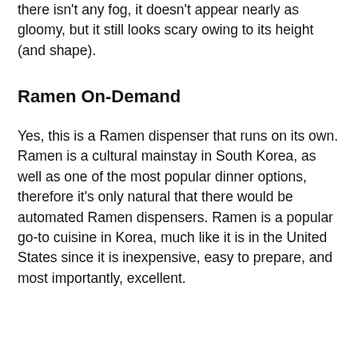there isn't any fog, it doesn't appear nearly as gloomy, but it still looks scary owing to its height (and shape).
Ramen On-Demand
Yes, this is a Ramen dispenser that runs on its own. Ramen is a cultural mainstay in South Korea, as well as one of the most popular dinner options, therefore it's only natural that there would be automated Ramen dispensers. Ramen is a popular go-to cuisine in Korea, much like it is in the United States since it is inexpensive, easy to prepare, and most importantly, excellent.